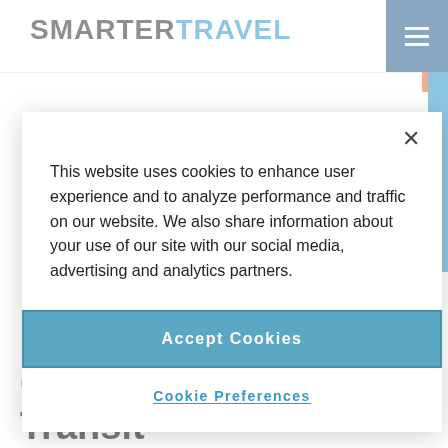SMARTER TRAVEL
This website uses cookies to enhance user experience and to analyze performance and traffic on our website. We also share information about your use of our site with our social media, advertising and analytics partners.
Accept Cookies
Cookie Preferences
BUS TRAVEL
Mar 20, 2014
Heading Overseas? Get Around on Local Transit